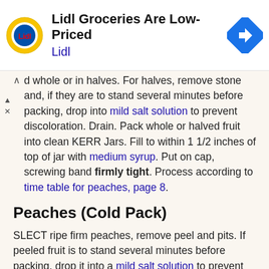[Figure (logo): Lidl advertisement banner with Lidl logo (yellow circle with red Lidl text), title 'Lidl Groceries Are Low-Priced', brand name 'Lidl' in blue, and a blue navigation/directions icon on the right]
d whole or in halves. For halves, remove stone and, if they are to stand several minutes before packing, drop into mild salt solution to prevent discoloration. Drain. Pack whole or halved fruit into clean KERR Jars. Fill to within 1 1/2 inches of top of jar with medium syrup. Put on cap, screwing band firmly tight. Process according to time table for peaches, page 8.
Peaches (Cold Pack)
SLECT ripe firm peaches, remove peel and pits. If peeled fruit is to stand several minutes before packing, drop it into a mild salt solution to prevent discoloration. Drain. Pack, halved or sliced, into clean KERR Jars. Fill to within 1 1/2 inches of top of jar with medium syrup. Put on cap, screwing band firmly tight. Process according to time table, page 8.
Peaches (Hot Pack)